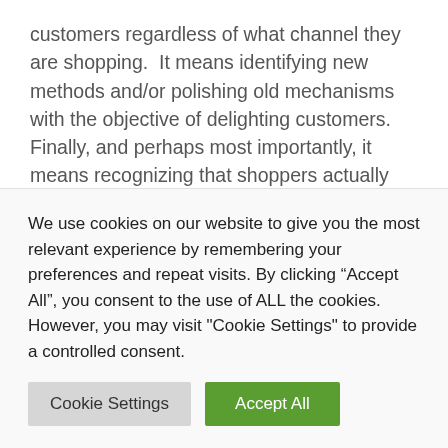customers regardless of what channel they are shopping.  It means identifying new methods and/or polishing old mechanisms with the objective of delighting customers. Finally, and perhaps most importantly, it means recognizing that shoppers actually want to be persuaded to be loyal customers to your brand. You just need to give them more reasons to vote for you with their dollars and their brand loyalty.

My interest in the topic of cross-channel brand management
We use cookies on our website to give you the most relevant experience by remembering your preferences and repeat visits. By clicking “Accept All”, you consent to the use of ALL the cookies. However, you may visit "Cookie Settings" to provide a controlled consent.